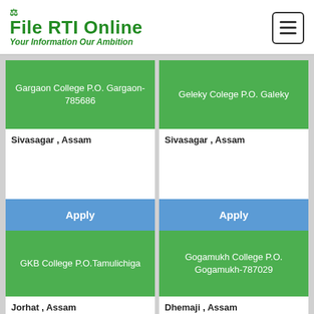File RTI Online — Your Information Our Ambition
Gargaon College P.O. Gargaon- 785686
Geleky Colege P.O. Galeky
Sivasagar , Assam
Sivasagar , Assam
Apply
Apply
GKB College P.O.Tamulichiga
Gogamukh College P.O. Gogamukh-787029
Jorhat , Assam
Dhemaji , Assam